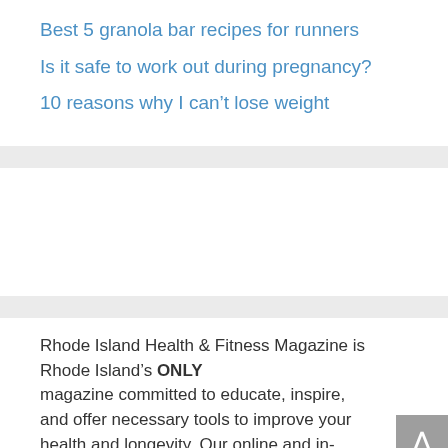Best 5 granola bar recipes for runners
Is it safe to work out during pregnancy?
10 reasons why I can't lose weight
Rhode Island Health & Fitness Magazine is Rhode Island's ONLY magazine committed to educate, inspire, and offer necessary tools to improve your health and longevity. Our online and in-